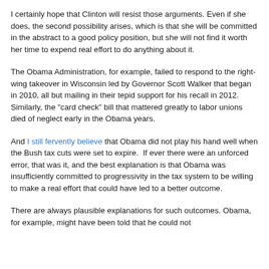I certainly hope that Clinton will resist those arguments. Even if she does, the second possibility arises, which is that she will be committed in the abstract to a good policy position, but she will not find it worth her time to expend real effort to do anything about it.
The Obama Administration, for example, failed to respond to the right-wing takeover in Wisconsin led by Governor Scott Walker that began in 2010, all but mailing in their tepid support for his recall in 2012.  Similarly, the "card check" bill that mattered greatly to labor unions died of neglect early in the Obama years.
And I still fervently believe that Obama did not play his hand well when the Bush tax cuts were set to expire.  If ever there were an unforced error, that was it, and the best explanation is that Obama was insufficiently committed to progressivity in the tax system to be willing to make a real effort that could have led to a better outcome.
There are always plausible explanations for such outcomes. Obama, for example, might have been told that he could not